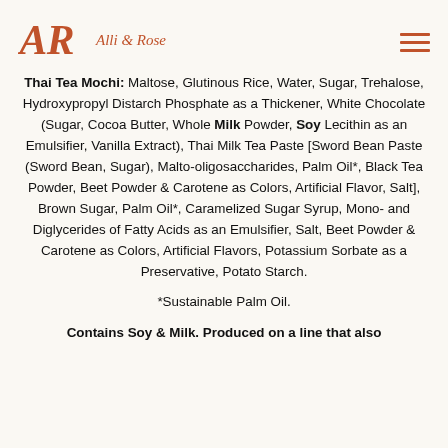Alli & Rose
Thai Tea Mochi: Maltose, Glutinous Rice, Water, Sugar, Trehalose, Hydroxypropyl Distarch Phosphate as a Thickener, White Chocolate (Sugar, Cocoa Butter, Whole Milk Powder, Soy Lecithin as an Emulsifier, Vanilla Extract), Thai Milk Tea Paste [Sword Bean Paste (Sword Bean, Sugar), Malto-oligosaccharides, Palm Oil*, Black Tea Powder, Beet Powder & Carotene as Colors, Artificial Flavor, Salt], Brown Sugar, Palm Oil*, Caramelized Sugar Syrup, Mono- and Diglycerides of Fatty Acids as an Emulsifier, Salt, Beet Powder & Carotene as Colors, Artificial Flavors, Potassium Sorbate as a Preservative, Potato Starch.
*Sustainable Palm Oil.
Contains Soy & Milk. Produced on a line that also